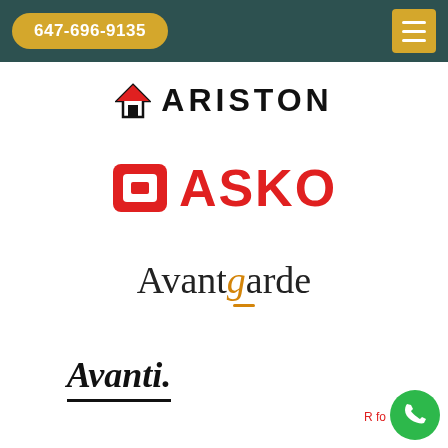647-696-9135
[Figure (logo): Ariston brand logo with house icon and bold uppercase text ARISTON]
[Figure (logo): ASKO brand logo with stylized red square icon and bold red uppercase text ASKO]
[Figure (logo): Avantgarde brand logo in serif font with orange italic g]
[Figure (logo): Avanti brand logo in italic serif font with underline]